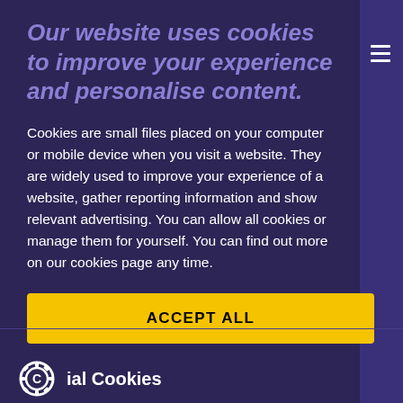Our website uses cookies to improve your experience and personalise content.
Cookies are small files placed on your computer or mobile device when you visit a website. They are widely used to improve your experience of a website, gather reporting information and show relevant advertising. You can allow all cookies or manage them for yourself. You can find out more on our cookies page any time.
ACCEPT ALL
ial Cookies